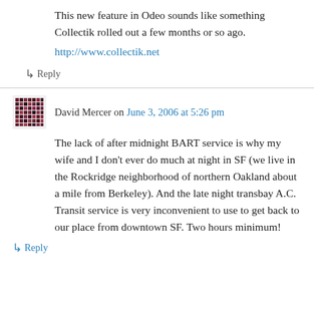This new feature in Odeo sounds like something Collectik rolled out a few months or so ago.
http://www.collectik.net
↳ Reply
David Mercer on June 3, 2006 at 5:26 pm
The lack of after midnight BART service is why my wife and I don't ever do much at night in SF (we live in the Rockridge neighborhood of northern Oakland about a mile from Berkeley). And the late night transbay A.C. Transit service is very inconvenient to use to get back to our place from downtown SF. Two hours minimum!
↳ Reply